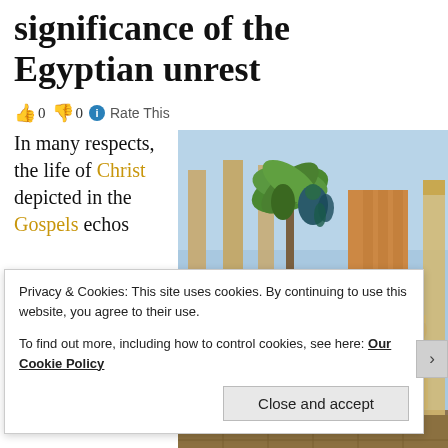significance of the Egyptian unrest
0  0  Rate This
In many respects, the life of Christ depicted in the Gospels echos
[Figure (illustration): Classical painting depicting a biblical/ancient Egyptian scene with figures in robes in an ornate columned hall with palm trees and Egyptian architecture]
Privacy & Cookies: This site uses cookies. By continuing to use this website, you agree to their use.
To find out more, including how to control cookies, see here: Our Cookie Policy
Close and accept